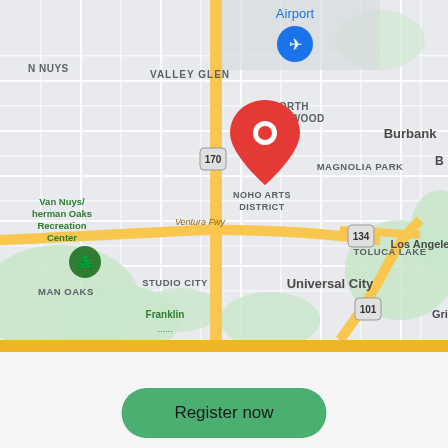[Figure (map): Google Maps view of North Hollywood / NoHo Arts District area in Los Angeles, CA. Shows Van Nuys/Sherman Oaks Recreation Center, Valley Glen, North Hollywood, Burbank, Magnolia Park, Toluca Lake, Studio City, Universal City areas. Red location pin on NoHo Arts District. Blue airport icon near top center. Green tree icon near left side. Route 170 and 134 and 101 highways visible. Ventura Fwy labeled.]
Register now